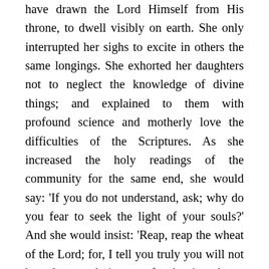have drawn the Lord Himself from His throne, to dwell visibly on earth. She only interrupted her sighs to excite in others the same longings. She exhorted her daughters not to neglect the knowledge of divine things; and explained to them with profound science and motherly love the difficulties of the Scriptures. As she increased the holy readings of the community for the same end, she would say: 'If you do not understand, ask; why do you fear to seek the light of your souls?' And she would insist: 'Reap, reap the wheat of the Lord; for, I tell you truly you will not have long to do it: reap, for the time draws near when you will wish to recall the days that are now given you, and your regrets will not be able to bring them back.' And the loving chronicler to whom we owe these sweet intimate details continues: 'In our idleness we listen coolly to the